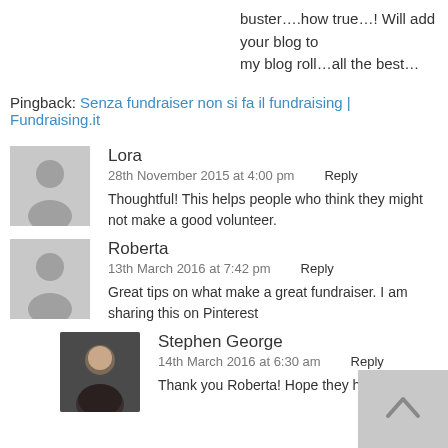buster….how true…! Will add your blog to my blog roll…all the best…
Pingback: Senza fundraiser non si fa il fundraising | Fundraising.it
Lora
28th November 2015 at 4:00 pm  Reply
Thoughtful! This helps people who think they might not make a good volunteer.
Roberta
13th March 2016 at 7:42 pm  Reply
Great tips on what make a great fundraiser. I am sharing this on Pinterest
Stephen George
14th March 2016 at 6:30 am  Reply
Thank you Roberta! Hope they have been